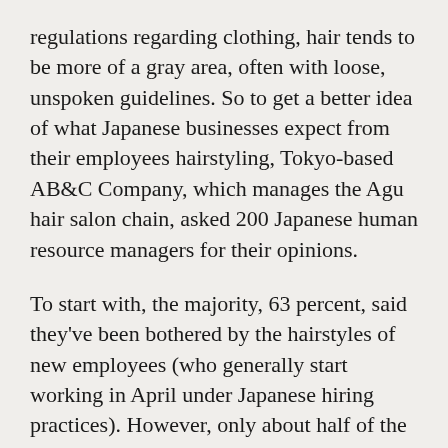regulations regarding clothing, hair tends to be more of a gray area, often with loose, unspoken guidelines. So to get a better idea of what Japanese businesses expect from their employees hairstyling, Tokyo-based AB&C Company, which manages the Agu hair salon chain, asked 200 Japanese human resource managers for their opinions.
To start with, the majority, 63 percent, said they've been bothered by the hairstyles of new employees (who generally start working in April under Japanese hiring practices). However, only about half of the personnel managers, 52 percent, said they've actually cautioned an employee over their hairstyle's appropriateness for a workplace environment.
That implies a lot of silent disapproval, and to get a better handle on that, the researchers next